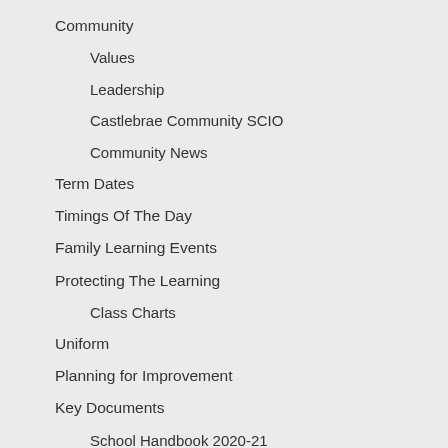Community
Values
Leadership
Castlebrae Community SCIO
Community News
Term Dates
Timings Of The Day
Family Learning Events
Protecting The Learning
Class Charts
Uniform
Planning for Improvement
Key Documents
School Handbook 2020-21
Equality and Inclusion